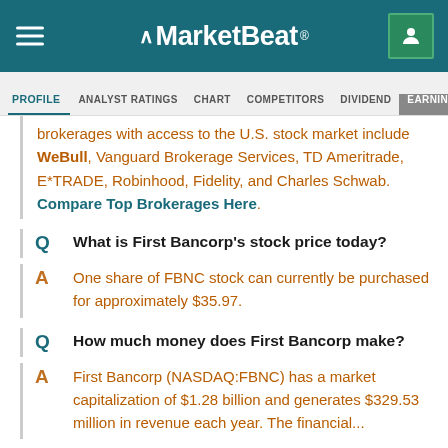MarketBeat
PROFILE | ANALYST RATINGS | CHART | COMPETITORS | DIVIDEND | EARNINGS
brokerages with access to the U.S. stock market include WeBull, Vanguard Brokerage Services, TD Ameritrade, E*TRADE, Robinhood, Fidelity, and Charles Schwab. Compare Top Brokerages Here.
Q: What is First Bancorp's stock price today?
A: One share of FBNC stock can currently be purchased for approximately $35.97.
Q: How much money does First Bancorp make?
A: First Bancorp (NASDAQ:FBNC) has a market capitalization of $1.28 billion and generates $329.53 million in revenue each year. The financial...